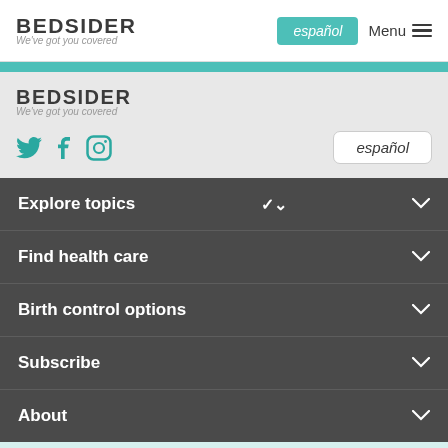BEDSIDER We've got you covered | español | Menu
[Figure (logo): Bedsider logo with tagline 'We've got you covered']
español
Menu
[Figure (logo): Bedsider logo repeated in sidebar with tagline 'We've got you covered']
[Figure (infographic): Social media icons: Twitter, Facebook, Instagram in teal]
español
Explore topics
Find health care
Birth control options
Subscribe
About
Bedsider Providers ↗